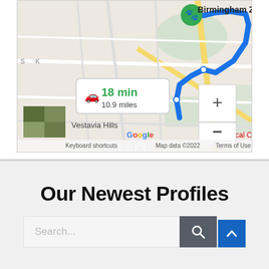[Figure (map): Google Maps screenshot showing a route from Vestavia Hills area to Birmingham Zoo, displaying 18 min and 10.9 miles travel time with a blue route line, zoom controls (+/-), and map attribution including 'Keyboard shortcuts', 'Map data ©2022', 'Terms of Use'.]
Our Newest Profiles
Search...